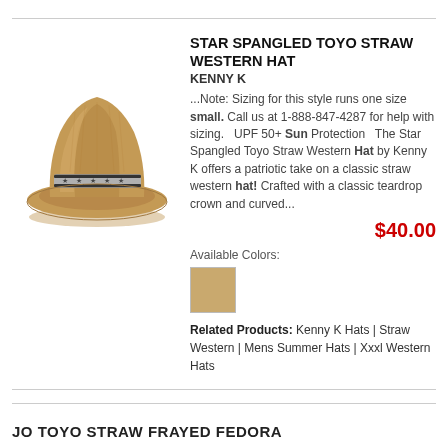[Figure (photo): A tan/brown straw cowboy western hat with a decorative star-studded band in silver and black around the crown, photographed on a white background.]
STAR SPANGLED TOYO STRAW WESTERN HAT
KENNY K
...Note: Sizing for this style runs one size small. Call us at 1-888-847-4287 for help with sizing.   UPF 50+ Sun Protection   The Star Spangled Toyo Straw Western Hat by Kenny K offers a patriotic take on a classic straw western hat! Crafted with a classic teardrop crown and curved...
$40.00
Available Colors:
[Figure (other): A small tan/straw-colored square color swatch.]
Related Products: Kenny K Hats | Straw Western | Mens Summer Hats | Xxxl Western Hats
JO TOYO STRAW FRAYED FEDORA